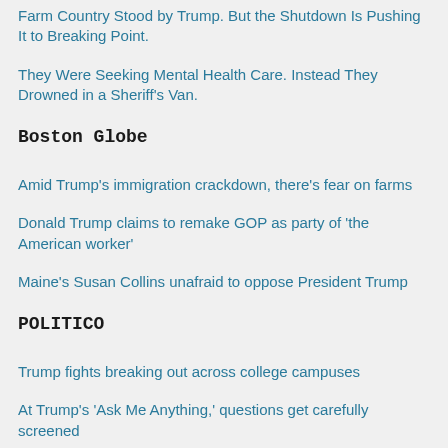Farm Country Stood by Trump. But the Shutdown Is Pushing It to Breaking Point.
They Were Seeking Mental Health Care. Instead They Drowned in a Sheriff's Van.
Boston Globe
Amid Trump's immigration crackdown, there's fear on farms
Donald Trump claims to remake GOP as party of 'the American worker'
Maine's Susan Collins unafraid to oppose President Trump
POLITICO
Trump fights breaking out across college campuses
At Trump's 'Ask Me Anything,' questions get carefully screened